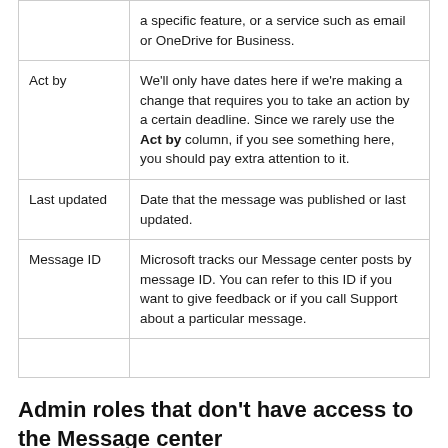|  |  |
| --- | --- |
|  | a specific feature, or a service such as email or OneDrive for Business. |
| Act by | We'll only have dates here if we're making a change that requires you to take an action by a certain deadline. Since we rarely use the Act by column, if you see something here, you should pay extra attention to it. |
| Last updated | Date that the message was published or last updated. |
| Message ID | Microsoft tracks our Message center posts by message ID. You can refer to this ID if you want to give feedback or if you call Support about a particular message. |
|  |  |
Admin roles that don't have access to the Message center